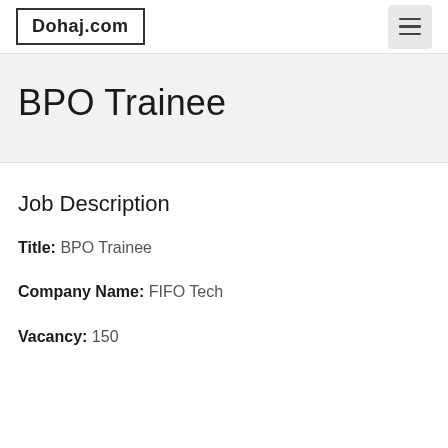Dohaj.com
BPO Trainee
Job Description
Title: BPO Trainee
Company Name: FIFO Tech
Vacancy: 150